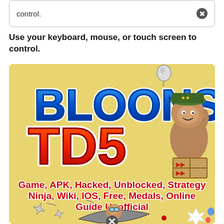control.
Use your keyboard, mouse, or touch screen to control.
[Figure (illustration): Bloons TD5 game promotional image showing the Bloons TD5 logo with a cartoon monkey character wearing a military hat, and subtitle text 'Game, APK, Hacked, Unblocked, Strategy Ninja, Wiki, IOS, Free, Medals, Online Guide Unofficial'. Bottom portion shows game characters including a flying monkey on a vehicle with ninja stars and other game elements on a yellow background.]